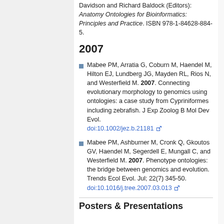Davidson and Richard Baldock (Editors): Anatomy Ontologies for Bioinformatics: Principles and Practice. ISBN 978-1-84628-884-5.
2007
Mabee PM, Arratia G, Coburn M, Haendel M, Hilton EJ, Lundberg JG, Mayden RL, Rios N, and Westerfield M. 2007. Connecting evolutionary morphology to genomics using ontologies: a case study from Cypriniformes including zebrafish. J Exp Zoolog B Mol Dev Evol. doi:10.1002/jez.b.21181
Mabee PM, Ashburner M, Cronk Q, Gkoutos GV, Haendel M, Segerdell E, Mungall C, and Westerfield M. 2007. Phenotype ontologies: the bridge between genomics and evolution. Trends Ecol Evol. Jul; 22(7) 345-50. doi:10.1016/j.tree.2007.03.013
Posters & Presentations